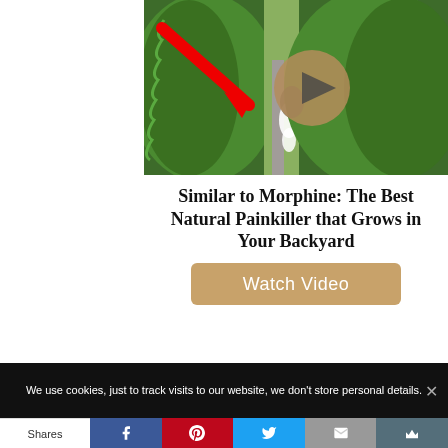[Figure (screenshot): Video thumbnail showing plant stem with milky sap and a red arrow pointing to it, with a play button overlay on a tan/brown circle]
Similar to Morphine: The Best Natural Painkiller that Grows in Your Backyard
Watch Video
We use cookies, just to track visits to our website, we don't store personal details.
Shares